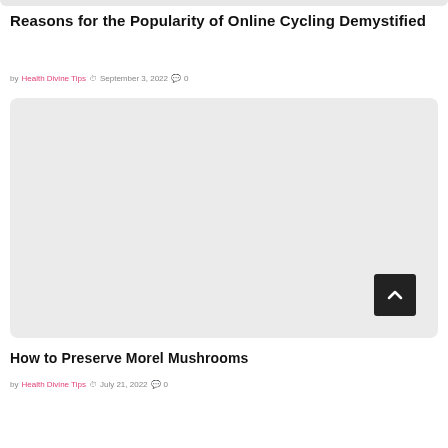Reasons for the Popularity of Online Cycling Demystified
by Health Divine Tips  September 3, 2022  0
[Figure (photo): Large image placeholder with light gray background, rounded corners]
How to Preserve Morel Mushrooms
by Health Divine Tips  July 21, 2022  0